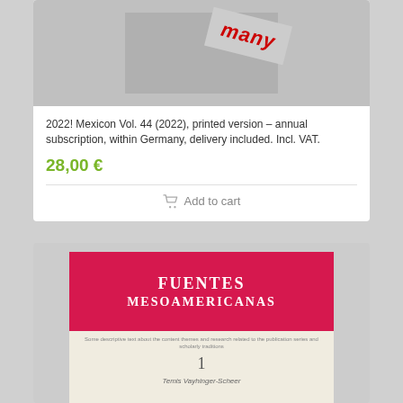[Figure (photo): Product thumbnail image for Mexicon Vol. 44 subscription — shows a grey square with a partially visible tag/stamp reading 'many' in red italic text on white angled label]
2022! Mexicon Vol. 44 (2022), printed version – annual subscription, within Germany, delivery included. Incl. VAT.
28,00 €
Add to cart
[Figure (photo): Book cover showing 'FUENTES MESOAMERICANAS' in white bold serif text on pink/red background, with number 1 and author name Temis Vayhinger-Scheer below on cream background]